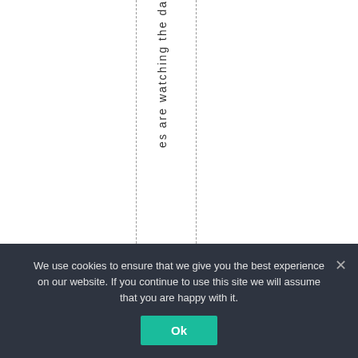es are watching the da
We use cookies to ensure that we give you the best experience on our website. If you continue to use this site we will assume that you are happy with it.
Ok